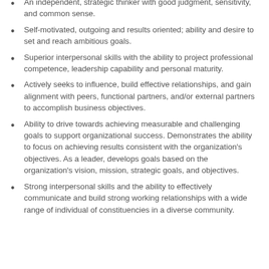An independent, strategic thinker with good judgment, sensitivity, and common sense.
Self-motivated, outgoing and results oriented; ability and desire to set and reach ambitious goals.
Superior interpersonal skills with the ability to project professional competence, leadership capability and personal maturity.
Actively seeks to influence, build effective relationships, and gain alignment with peers, functional partners, and/or external partners to accomplish business objectives.
Ability to drive towards achieving measurable and challenging goals to support organizational success. Demonstrates the ability to focus on achieving results consistent with the organization's objectives. As a leader, develops goals based on the organization's vision, mission, strategic goals, and objectives.
Strong interpersonal skills and the ability to effectively communicate and build strong working relationships with a wide range of individual of constituencies in a diverse community.